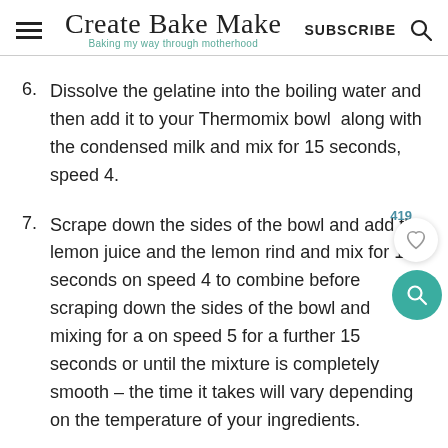Create Bake Make — Baking my way through motherhood — SUBSCRIBE
6. Dissolve the gelatine into the boiling water and then add it to your Thermomix bowl  along with the condensed milk and mix for 15 seconds, speed 4.
7. Scrape down the sides of the bowl and add the lemon juice and the lemon rind and mix for 10 seconds on speed 4 to combine before scraping down the sides of the bowl and mixing for a on speed 5 for a further 15 seconds or until the mixture is completely smooth – the time it takes will vary depending on the temperature of your ingredients.